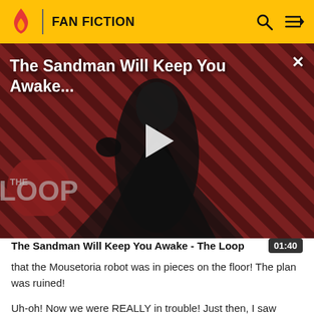FAN FICTION
[Figure (screenshot): Video thumbnail for 'The Sandman Will Keep You Awake...' showing a figure in black robes against a red diagonal-striped background, with a play button overlay and 'THE LOOP' logo in the lower left corner.]
The Sandman Will Keep You Awake - The Loop
that the Mousetoria robot was in pieces on the floor! The plan was ruined!
Uh-oh! Now we were REALLY in trouble! Just then, I saw